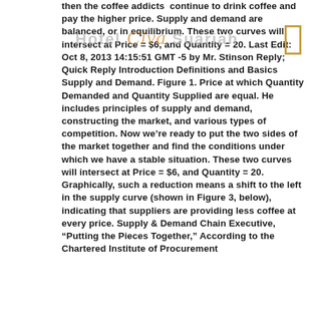then the coffee addicts continue to drink coffee and pay the higher price. Supply and demand are balanced, or in equilibrium. These two curves will intersect at Price = $6, and Quantity = 20. Last Edit: Oct 8, 2013 14:15:51 GMT -5 by Mr. Stinson Reply; Quick Reply Introduction Definitions and Basics Supply and Demand. Figure 1. Price at which Quantity Demanded and Quantity Supplied are equal. He includes principles of supply and demand, constructing the market, and various types of competition. Now we're ready to put the two sides of the market together and find the conditions under which we have a stable situation. These two curves will intersect at Price = $6, and Quantity = 20. Graphically, such a reduction means a shift to the left in the supply curve (shown in Figure 3, below), indicating that suppliers are providing less coffee at every price. Supply & Demand Chain Executive, “Putting the Pieces Together,” According to the Chartered Institute of Procurement